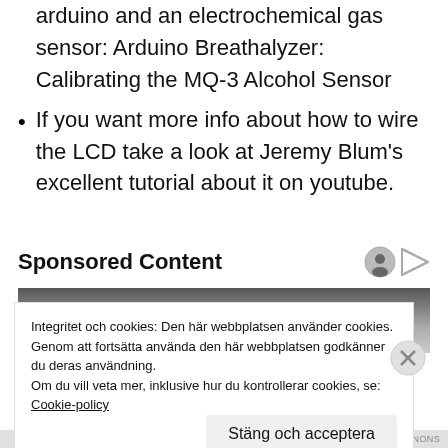arduino and an electrochemical gas sensor: Arduino Breathalyzer: Calibrating the MQ-3 Alcohol Sensor
If you want more info about how to wire the LCD take a look at Jeremy Blum's excellent tutorial about it on youtube.
Sponsored Content
[Figure (photo): Grayscale image of a person's eye/face, partially visible, used as sponsored content advertisement banner.]
Integritet och cookies: Den här webbplatsen använder cookies.
Genom att fortsätta använda den här webbplatsen godkänner du deras användning.
Om du vill veta mer, inklusive hur du kontrollerar cookies, se:
Cookie-policy
Stäng och acceptera
RAPPORTERA DENNA ANNONS